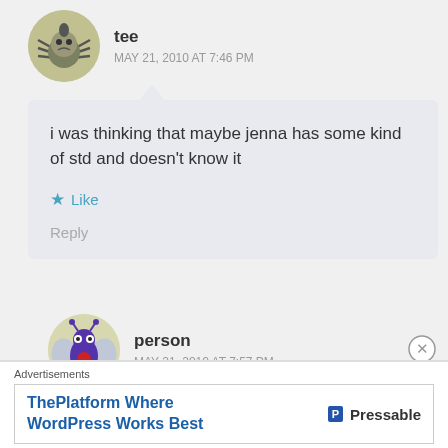[Figure (illustration): Circular avatar of a spider-like cartoon character with a round gray face]
tee
MAY 21, 2010 AT 7:46 PM
i was thinking that maybe jenna has some kind of std and doesn't know it
Like
Reply
[Figure (illustration): Circular avatar of a purple bat-like cartoon character with red markings]
person
MAY 21, 2010 AT 7:57 PM
Advertisements
ThePlatform Where WordPress Works Best
P Pressable